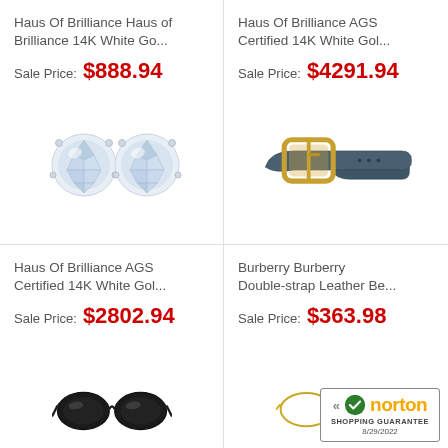Haus Of Brilliance Haus of Brilliance 14K White Go...
Sale Price: $888.94
[Figure (photo): Two round diamond stud earrings with silver prong settings on white background]
Haus Of Brilliance AGS Certified 14K White Gol...
Sale Price: $4291.94
[Figure (photo): Dark teal leather belt with gold rectangular buckle, looped]
Haus Of Brilliance AGS Certified 14K White Gol...
Sale Price: $2802.94
Burberry Burberry Double-strap Leather Be...
Sale Price: $363.98
[Figure (photo): Black cat-eye sunglasses, partially visible at bottom of page]
[Figure (photo): Gold wire-frame glasses, partially visible at bottom of page]
[Figure (logo): Norton Shopping Guarantee badge with checkmark, dated 8/29/2022]